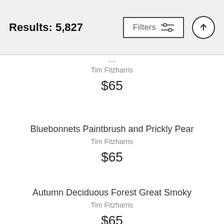Results: 5,827
Tim Fitzharris
$65
Bluebonnets Paintbrush and Prickly Pear
Tim Fitzharris
$65
Autumn Deciduous Forest Great Smoky
Tim Fitzharris
$65